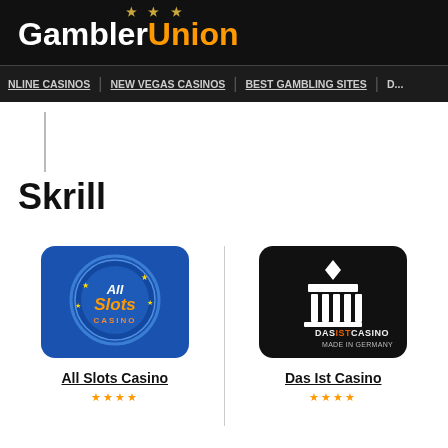GamblerUnion — NLINE CASINOS | NEW VEGAS CASINOS | BEST GAMBLING SITES | ...
Skrill
[Figure (logo): All Slots Casino logo — blue rounded rectangle with circular badge and 'All Slots Casino' text]
All Slots Casino
[Figure (logo): Das Ist Casino logo — black rounded rectangle with Brandenburg Gate icon and 'DASISTCASINO MADE IN GERMANY' text]
Das Ist Casino